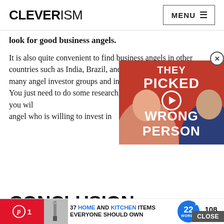CLEVERISM — MENU
look for good business angels.
It is also quite convenient to find business angels in other countries such as India, Brazil, and Germany. There might be many angel investor groups and individuals present around you. You just need to do some research, make some connections, and you will find a good business angel who is willing to invest in
[Figure (other): Video thumbnail overlay showing two people with text 'THEY PICKED THE WRONG PERSON' on red background with play button]
CONCLUSION
You can make a big leap forward if you can convince business angels to fund your business. You can raise a considerable amount of money as more and more groups
37 HOME AND KITCHEN ITEMS EVERYONE SHOULD OWN — 108 SHARES